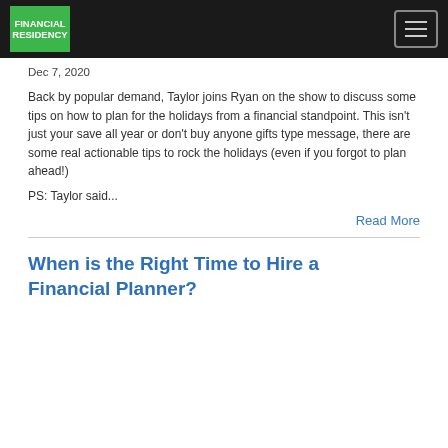FINANCIAL RESIDENCY
Dec 7, 2020
Back by popular demand, Taylor joins Ryan on the show to discuss some tips on how to plan for the holidays from a financial standpoint. This isn't just your save all year or don't buy anyone gifts type message, there are some real actionable tips to rock the holidays (even if you forgot to plan ahead!)
PS: Taylor said...
Read More
When is the Right Time to Hire a Financial Planner?